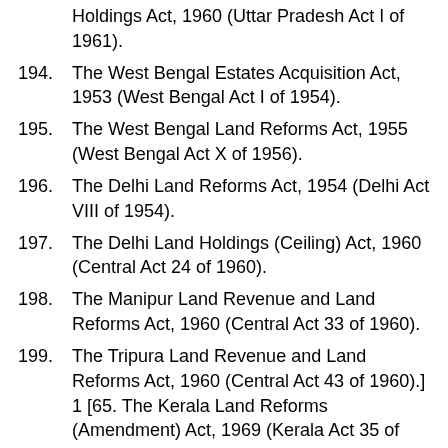Holdings Act, 1960 (Uttar Pradesh Act I of 1961).
194. The West Bengal Estates Acquisition Act, 1953 (West Bengal Act I of 1954).
195. The West Bengal Land Reforms Act, 1955 (West Bengal Act X of 1956).
196. The Delhi Land Reforms Act, 1954 (Delhi Act VIII of 1954).
197. The Delhi Land Holdings (Ceiling) Act, 1960 (Central Act 24 of 1960).
198. The Manipur Land Revenue and Land Reforms Act, 1960 (Central Act 33 of 1960).
199. The Tripura Land Revenue and Land Reforms Act, 1960 (Central Act 43 of 1960).] 1 [65. The Kerala Land Reforms (Amendment) Act, 1969 (Kerala Act 35 of 1969).
200. The Kerala Land Reforms (Amendment) Act, 1971 (Kerala Act 25 of 1971).] 2 [67. The Andhra